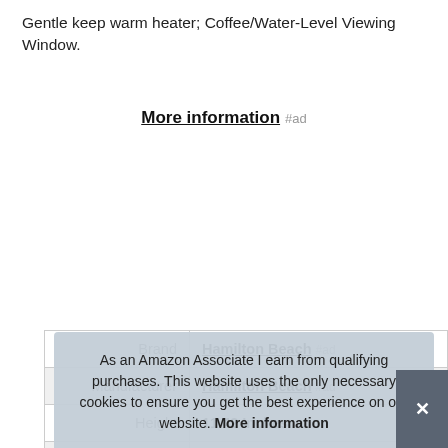Gentle keep warm heater; Coffee/Water-Level Viewing Window.
More information #ad
| Label | Value |
| --- | --- |
| Brand | Hamilton Beach #ad |
| Manufacturer | Hamilton Beach #ad |
| Height | 11.42 Inches |
| Length | 10.16 Inches |
| Weight | 2.9 Pounds |
| P |  |
| Warranty | One(1) Year Warranty |
As an Amazon Associate I earn from qualifying purchases. This website uses the only necessary cookies to ensure you get the best experience on our website. More information